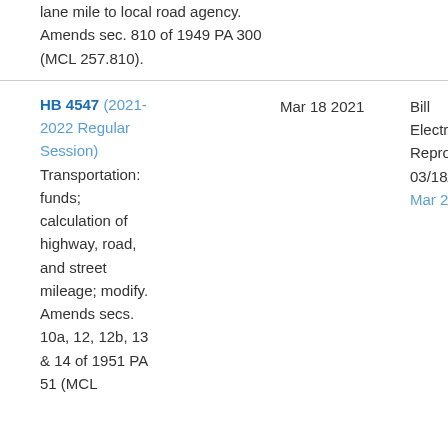lane mile to local road agency. Amends sec. 810 of 1949 PA 300 (MCL 257.810).
HB 4547 (2021-2022 Regular Session) Transportation: funds; calculation of highway, road, and street mileage; modify. Amends secs. 10a, 12, 12b, 13 & 14 of 1951 PA 51 (MCL
Mar 18 2021
Bill Electronically Reproduced 03/18/2021 Mar 23 2021